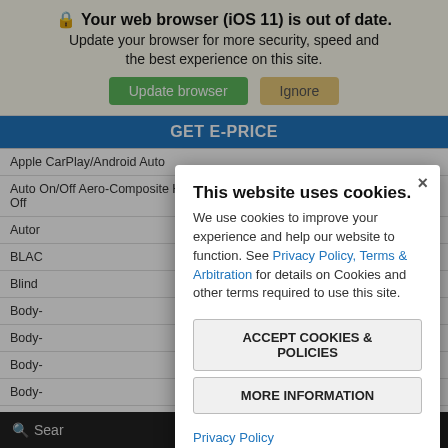🔒 Your web browser (iOS 11) is out of date. Update your browser for more security, speed and the best experience on this site.
Update browser | Ignore
GET E-PRICE
Apple CarPlay/Android Auto
Auto On/Off Aero-Composite Halogen Daytime Running Headlights w/Delay Off
Auto...
BLACK...
Blind...
Body-...
Body-...
Body-...
Body-... cent
Brake...
This website uses cookies.
We use cookies to improve your experience and help our website to function. See Privacy Policy, Terms & Arbitration for details on Cookies and other terms required to use this site.
ACCEPT COOKIES & POLICIES
MORE INFORMATION
Privacy Policy
Search  Contact